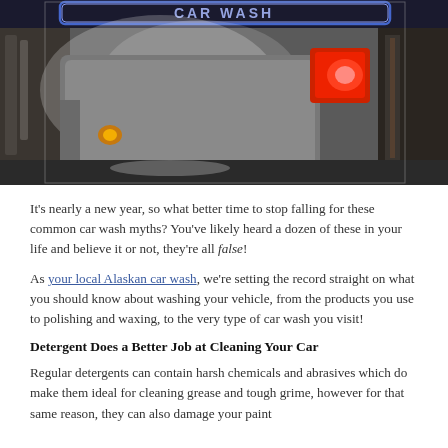[Figure (photo): A car going through an automated car wash tunnel, visible rear tail light glowing red, steam and mist visible, with a neon-style 'Car Wash' sign at the top in blue/white]
It's nearly a new year, so what better time to stop falling for these common car wash myths? You've likely heard a dozen of these in your life and believe it or not, they're all false!
As your local Alaskan car wash, we're setting the record straight on what you should know about washing your vehicle, from the products you use to polishing and waxing, to the very type of car wash you visit!
Detergent Does a Better Job at Cleaning Your Car
Regular detergents can contain harsh chemicals and abrasives which do make them ideal for cleaning grease and tough grime, however for that same reason, they can also damage your paint...